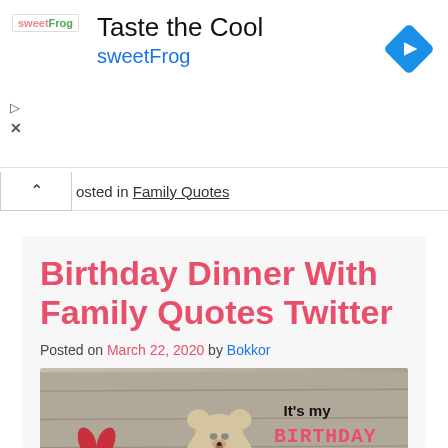[Figure (other): sweetFrog ad banner: 'Taste the Cool / sweetFrog' with logo and blue diamond arrow icon]
osted in Family Quotes
Birthday Dinner With Family Quotes Twitter
Posted on March 22, 2020 by Bokkor
[Figure (photo): Photo of a teddy bear and red heart on a wood background with text 'It's my BIRTHDAY month! I am now']